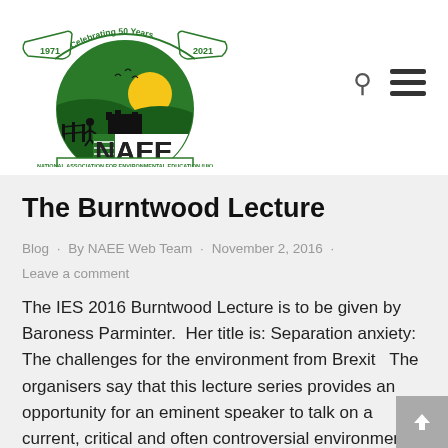[Figure (logo): NAEE (National Association for Environmental Education UK) logo with '1971 Celebrating 50 Years 2021' banner, green landscape, sun, birds, and text 'Registered charity no. 1166502']
The Burntwood Lecture
Blog · By NAEE Web Team · November 2, 2016 · Leave a comment
The IES 2016 Burntwood Lecture is to be given by Baroness Parminter.  Her title is: Separation anxiety: The challenges for the environment from Brexit   The organisers say that this lecture series provides an opportunity for an eminent speaker to talk on a current, critical and often controversial environmental theme to an invited audience from the professions, universities and government.  In